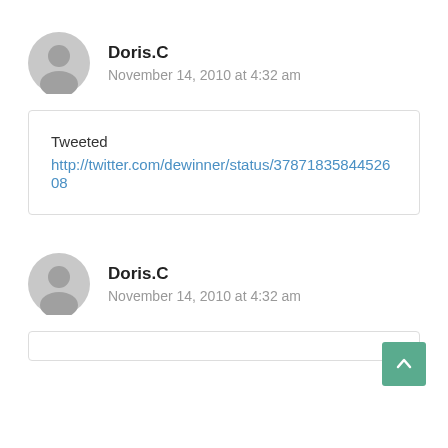Doris.C
November 14, 2010 at 4:32 am
Tweeted
http://twitter.com/dewinner/status/3787183584452608
Doris.C
November 14, 2010 at 4:32 am